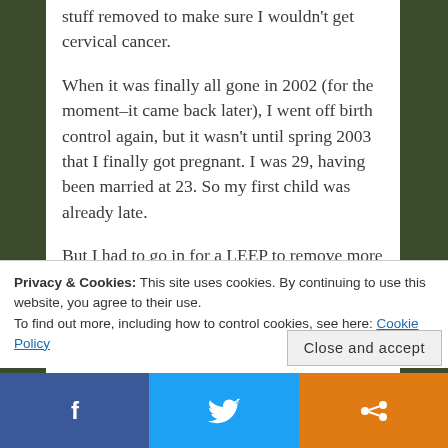stuff removed to make sure I wouldn't get cervical cancer.
When it was finally all gone in 2002 (for the moment–it came back later), I went off birth control again, but it wasn't until spring 2003 that I finally got pregnant.  I was 29, having been married at 23.  So my first child was already late.
But I had to go in for a LEEP to remove more stuff after this, in 2006, after my son was born.  Nothing more has happened since, but I keep getting letters saying that it'll
Privacy & Cookies: This site uses cookies. By continuing to use this website, you agree to their use.
To find out more, including how to control cookies, see here: Cookie Policy